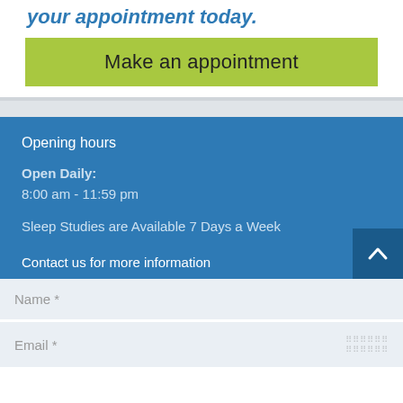your appointment today.
Make an appointment
Opening hours
Open Daily:
8:00 am - 11:59 pm
Sleep Studies are Available 7 Days a Week
Contact us for more information
Name *
Email *